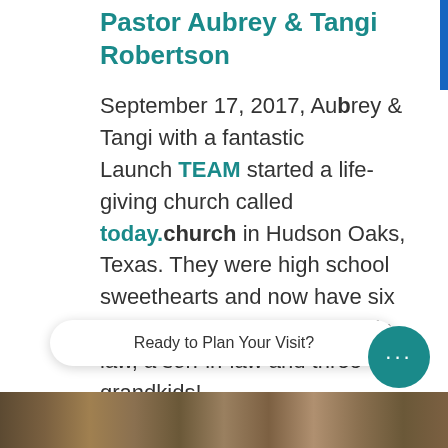Pastor Aubrey & Tangi Robertson
September 17, 2017, Aubrey & Tangi with a fantastic Launch TEAM started a life-giving church called today.church in Hudson Oaks, Texas. They were high school sweethearts and now have six children plus two daughters-in-law, a son-in-law and three grandkids!
Ready to Plan Your Visit?
[Figure (photo): Photo strip at bottom of page showing people]